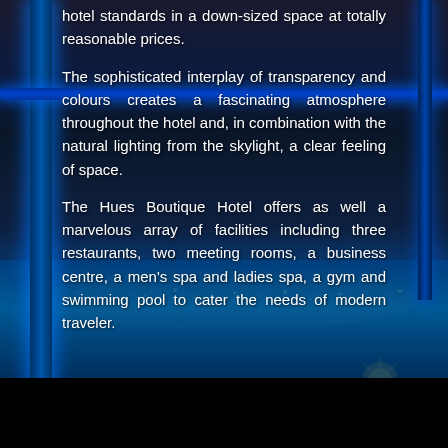hotel standards in a down-sized space at totally reasonable prices.
The sophisticated interplay of transparency and colours creates a fascinating atmosphere throughout the hotel and, in combination with the natural lighting from the skylight, a clear feeling of space.
The Hues Boutique Hotel offers as well a marvelous array of facilities including three restaurants, two meeting rooms, a business centre, a men's spa and ladies spa, a gym and swimming pool to cater the needs of modern traveler.
[Figure (photo): Night-time photograph of a boutique hotel rooftop/terrace with blue-lit architectural glass framing, city lights in the background, and a blue-lit swimming pool area visible at the bottom. Dark sky with warm city glow.]